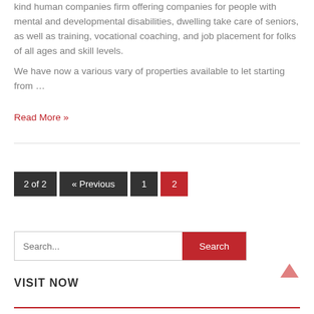kind human companies firm offering companies for people with mental and developmental disabilities, dwelling take care of seniors, as well as training, vocational coaching, and job placement for folks of all ages and skill levels.
We have now a various vary of properties available to let starting from …
Read More »
2 of 2  « Previous  1  2
Search...  Search
VISIT NOW